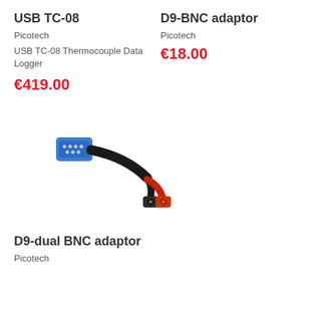USB TC-08
Picotech
USB TC-08 Thermocouple Data Logger
€419.00
D9-BNC adaptor
Picotech
€18.00
[Figure (photo): D9-BNC adaptor cable with blue D9 connector on one end and two BNC connectors (one red, one black) on the other end]
D9-dual BNC adaptor
Picotech